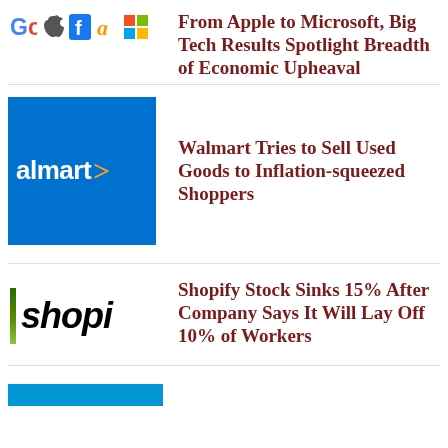[Figure (logo): Big Tech company logos: Google, Apple, Facebook, Amazon, Microsoft]
From Apple to Microsoft, Big Tech Results Spotlight Breadth of Economic Upheaval
[Figure (logo): Walmart logo on blue background with yellow chevron]
Walmart Tries to Sell Used Goods to Inflation-squeezed Shoppers
[Figure (logo): Shopify partial logo with green bar and italic wordmark]
Shopify Stock Sinks 15% After Company Says It Will Lay Off 10% of Workers
[Figure (logo): Partial blue logo at bottom of page (cropped)]
(partial headline, cropped at bottom of page)